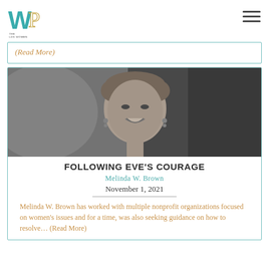THE LDS WOMEN PROJECT
(Read More)
[Figure (photo): Black and white portrait photo of a smiling woman with short hair and earrings]
FOLLOWING EVE'S COURAGE
Melinda W. Brown
November 1, 2021
Melinda W. Brown has worked with multiple nonprofit organizations focused on women's issues and for a time, was also seeking guidance on how to resolve... (Read More)